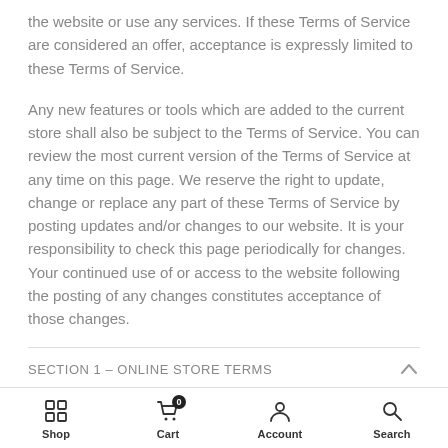the website or use any services. If these Terms of Service are considered an offer, acceptance is expressly limited to these Terms of Service.
Any new features or tools which are added to the current store shall also be subject to the Terms of Service. You can review the most current version of the Terms of Service at any time on this page. We reserve the right to update, change or replace any part of these Terms of Service by posting updates and/or changes to our website. It is your responsibility to check this page periodically for changes. Your continued use of or access to the website following the posting of any changes constitutes acceptance of those changes.
SECTION 1 – ONLINE STORE TERMS
Shop | Cart | Account | Search